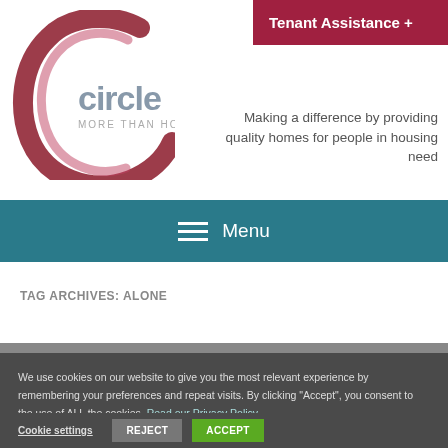[Figure (logo): Circle More Than Housing logo — dark red circular brush stroke forming a C shape with 'circle' text in gray and 'MORE THAN HOUSING' subtitle]
Tenant Assistance +
Making a difference by providing quality homes for people in housing need
Menu
TAG ARCHIVES: ALONE
We use cookies on our website to give you the most relevant experience by remembering your preferences and repeat visits. By clicking “Accept”, you consent to the use of ALL the cookies. Read our Privacy Policy
Cookie settings   REJECT   ACCEPT